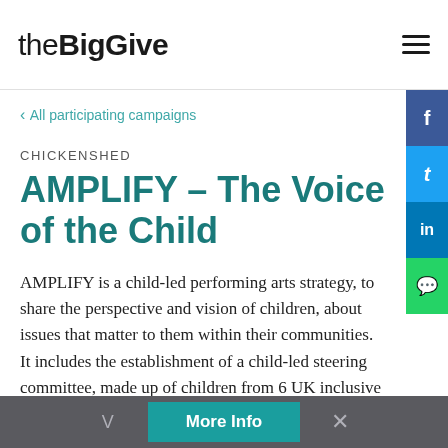theBigGive
‹ All participating campaigns
CHICKENSHED
AMPLIFY – The Voice of the Child
AMPLIFY is a child-led performing arts strategy, to share the perspective and vision of children, about issues that matter to them within their communities. It includes the establishment of a child-led steering committee, made up of children from 6 UK inclusive theatre companies.
V  More Info  ×